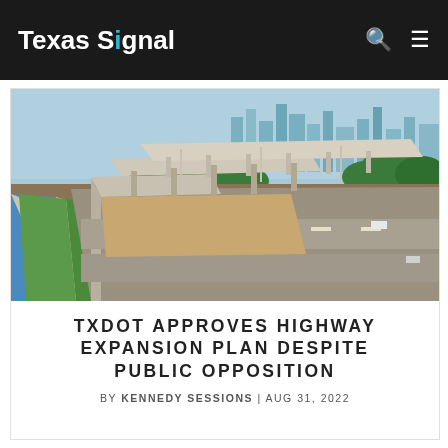Texas Signal
[Figure (photo): Aerial view of a Dallas highway interchange with multiple elevated ramps, construction activity, a canal or waterway on the left, and the Dallas city skyline in the background with tall buildings and trees]
TXDOT APPROVES HIGHWAY EXPANSION PLAN DESPITE PUBLIC OPPOSITION
BY KENNEDY SESSIONS | AUG 31, 2022